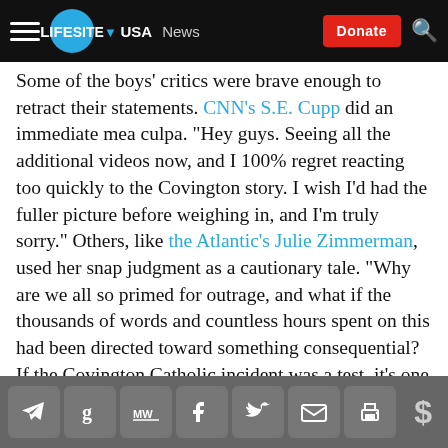LIFESITE | USA | News | Donate
Some of the boys' critics were brave enough to retract their statements. CNN's S.E. Cupp did an immediate mea culpa. "Hey guys. Seeing all the additional videos now, and I 100% regret reacting too quickly to the Covington story. I wish I'd had the fuller picture before weighing in, and I'm truly sorry." Others, like the Atlantic's Julie Zimmerman, used her snap judgment as a cautionary tale. "Why are we all so primed for outrage, and what if the thousands of words and countless hours spent on this had been directed toward something consequential? If the Covington Catholic incident was a test, it's one I failed."
The rest of the media continue to see what they want
Social share icons: Telegram, Google, MeWe, Facebook, Twitter, Email, Print | Donate ($)